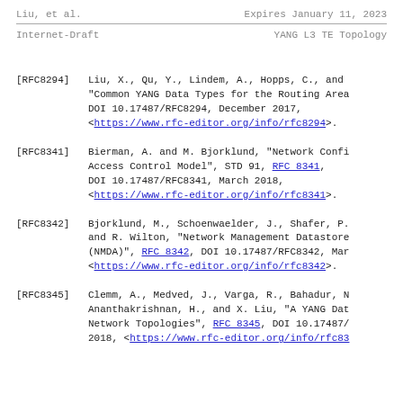Liu, et al.    Expires January 11, 2023
Internet-Draft    YANG L3 TE Topology
[RFC8294]   Liu, X., Qu, Y., Lindem, A., Hopps, C., and "Common YANG Data Types for the Routing Area. DOI 10.17487/RFC8294, December 2017, <https://www.rfc-editor.org/info/rfc8294>.
[RFC8341]   Bierman, A. and M. Bjorklund, "Network Configuration Access Control Model", STD 91, RFC 8341, DOI 10.17487/RFC8341, March 2018, <https://www.rfc-editor.org/info/rfc8341>.
[RFC8342]   Bjorklund, M., Schoenwaelder, J., Shafer, P. and R. Wilton, "Network Management Datastore (NMDA)", RFC 8342, DOI 10.17487/RFC8342, Mar. <https://www.rfc-editor.org/info/rfc8342>.
[RFC8345]   Clemm, A., Medved, J., Varga, R., Bahadur, N., Ananthakrishnan, H., and X. Liu, "A YANG Data Network Topologies", RFC 8345, DOI 10.17487/ 2018, <https://www.rfc-editor.org/info/rfc83